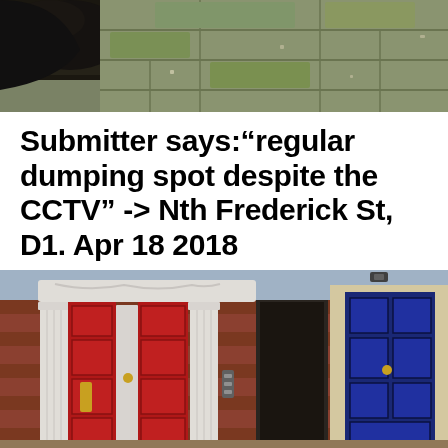[Figure (photo): Top photo showing black rubbish bags and mossy paving stones on a street, illegal dumping scene]
Submitter says:“regular dumping spot despite the CCTV” -> Nth Frederick St, D1. Apr 18 2018
[Figure (photo): Bottom photo showing a Georgian-style brick building facade with ornate white doorframe columns around a red door, and a blue door to the right]